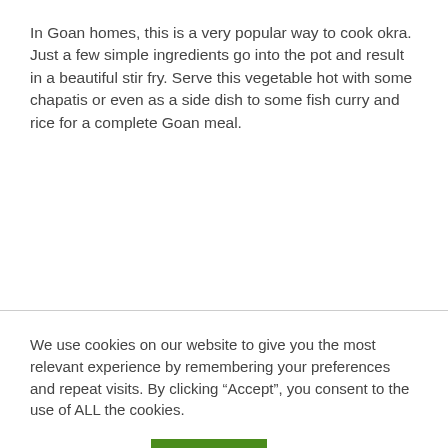In Goan homes, this is a very popular way to cook okra. Just a few simple ingredients go into the pot and result in a beautiful stir fry. Serve this vegetable hot with some chapatis or even as a side dish to some fish curry and rice for a complete Goan meal.
We use cookies on our website to give you the most relevant experience by remembering your preferences and repeat visits. By clicking “Accept”, you consent to the use of ALL the cookies.
Cookie settings
ACCEPT